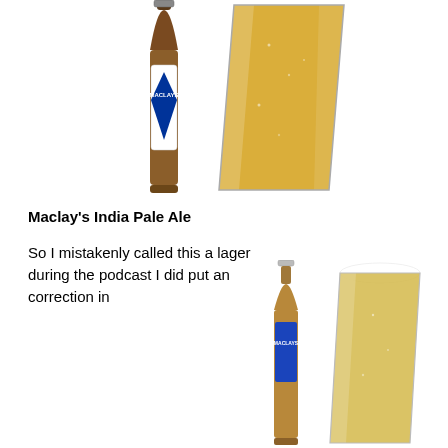[Figure (photo): Maclay's India Pale Ale dark bottle next to a tall pint glass of golden beer, top half of page]
Maclay's India Pale Ale
So I mistakenly called this a lager during the podcast I did put an correction in
[Figure (photo): Maclay's IPA bottle next to a pint glass of pale golden beer with white head, bottom right of page]